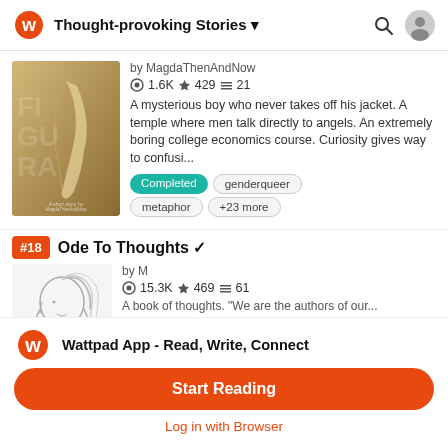Thought-provoking Stories
[Figure (screenshot): Book cover for a story by MagdaThenAndNow showing a feather]
by MagdaThenAndNow
1.6K ★ 429 ≡ 21
A mysterious boy who never takes off his jacket. A temple where men talk directly to angels. An extremely boring college economics course. Curiosity gives way to confusi...
Completed
genderqueer
metaphor
+23 more
Ode To Thoughts ✓
by M
15.3K ★ 469 ≡ 61
A book of thoughts. "We are the authors of our...
[Figure (illustration): Sketch/drawing of a person's profile with flowing hair]
Wattpad App - Read, Write, Connect
Start Reading
Log in with Browser